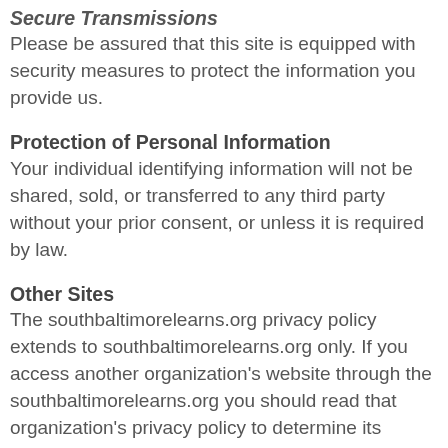Secure Transmissions
Please be assured that this site is equipped with security measures to protect the information you provide us.
Protection of Personal Information
Your individual identifying information will not be shared, sold, or transferred to any third party without your prior consent, or unless it is required by law.
Other Sites
The southbaltimorelearns.org privacy policy extends to southbaltimorelearns.org only. If you access another organization's website through the southbaltimorelearns.org you should read that organization's privacy policy to determine its website